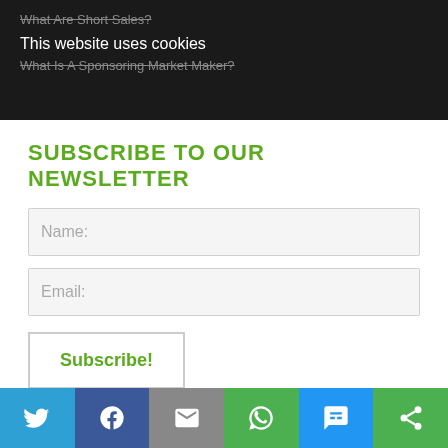What Are Short Sales?
This website uses cookies
What Is A Sponsoring Market Maker?
OKAY
MORE INFO
SUBSCRIBE TO OUR NEWSLETTER
Name:
Email:
Subscribe!
OTC Markets
The Role of the Going Public Attorney
OTC Link
OTCQX Listing, Eligibility & Quotation